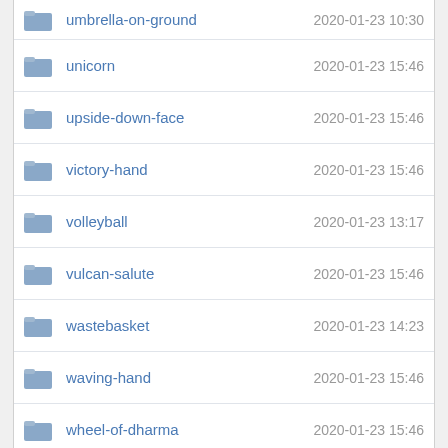| Name | Date Modified |
| --- | --- |
| umbrella-on-ground | 2020-01-23 10:30 |
| unicorn | 2020-01-23 15:46 |
| upside-down-face | 2020-01-23 15:46 |
| victory-hand | 2020-01-23 15:46 |
| volleyball | 2020-01-23 13:17 |
| vulcan-salute | 2020-01-23 15:46 |
| wastebasket | 2020-01-23 14:23 |
| waving-hand | 2020-01-23 15:46 |
| wheel-of-dharma | 2020-01-23 15:46 |
| white-flag | 2020-01-23 15:46 |
| wind-face | 2020-01-23 12:45 |
| world-map | 2020-01-23 15:46 |
| writing-hand | 2020-01-23 11:30 |